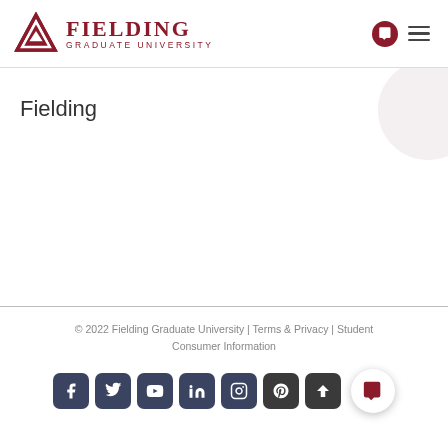Fielding Graduate University
Fielding
© 2022 Fielding Graduate University | Terms & Privacy | Student Consumer Information